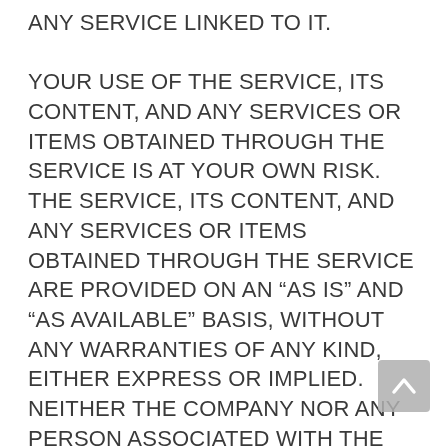ANY SERVICE LINKED TO IT.

YOUR USE OF THE SERVICE, ITS CONTENT, AND ANY SERVICES OR ITEMS OBTAINED THROUGH THE SERVICE IS AT YOUR OWN RISK.  THE SERVICE, ITS CONTENT, AND ANY SERVICES OR ITEMS OBTAINED THROUGH THE SERVICE ARE PROVIDED ON AN “AS IS” AND “AS AVAILABLE” BASIS, WITHOUT ANY WARRANTIES OF ANY KIND, EITHER EXPRESS OR IMPLIED.  NEITHER THE COMPANY NOR ANY PERSON ASSOCIATED WITH THE COMPANY MAKES ANY WARRANTY OR REPRESENTATION WITH RESPECT TO THE COMPLETENESS, SECURITY, RELIABILITY, QUALITY, ACCURACY, OR AVAILABILITY OF THE SERVICE.  WITHOUT LIMITING THE FOREGOING, NEITHER THE COMPANY NOR ANYONE